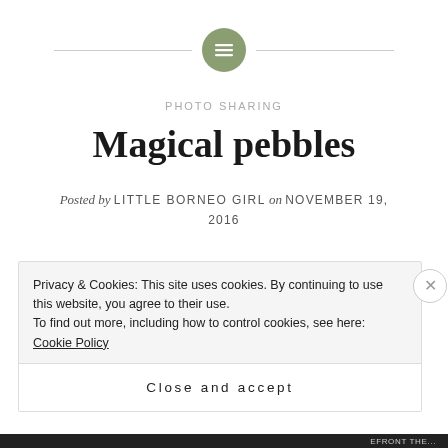[Figure (logo): Green circle icon with horizontal lines (menu/list icon), flanked by two horizontal gray lines]
PHOTO SHARING
Magical pebbles
Posted by LITTLE BORNEO GIRL on NOVEMBER 19, 2016
Pebbles are more than mere stones, they beautify surroundings and are used for landscaping and as decorative elements.
Privacy & Cookies: This site uses cookies. By continuing to use this website, you agree to their use.
To find out more, including how to control cookies, see here: Cookie Policy
Close and accept